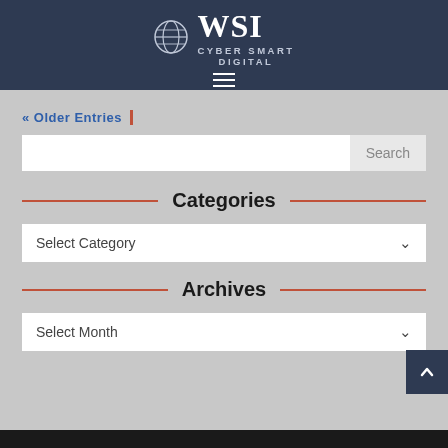WSI CYBER SMART DIGITAL
« Older Entries
Categories
Select Category
Archives
Select Month